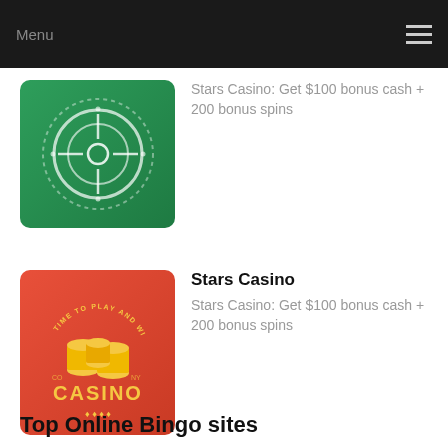Menu
[Figure (logo): Green casino poker chip roulette wheel logo on green background]
Stars Casino: Get $100 bonus cash + 200 bonus spins
Stars Casino
[Figure (logo): Red casino logo with gold coin stacks and CASINO text on red/orange background]
Stars Casino: Get $100 bonus cash + 200 bonus spins
Top Online Bingo sites